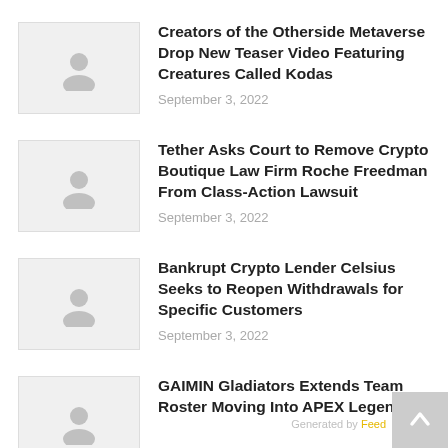Creators of the Otherside Metaverse Drop New Teaser Video Featuring Creatures Called Kodas
September 3, 2022
Tether Asks Court to Remove Crypto Boutique Law Firm Roche Freedman From Class-Action Lawsuit
September 3, 2022
Bankrupt Crypto Lender Celsius Seeks to Reopen Withdrawals for Specific Customers
September 3, 2022
GAIMIN Gladiators Extends Team Roster Moving Into APEX Legends